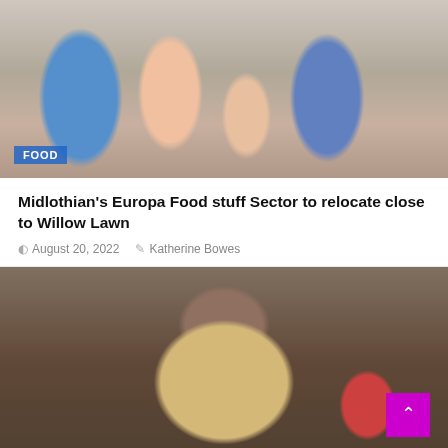[Figure (photo): Family of four posing together outside a restaurant or modern building. A teenage girl in a blue dress, a woman in a floral jacket, a young boy in a light pink shirt, and a man in a blue patterned shirt.]
FOOD
Midlothian's Europa Food stuff Sector to relocate close to Willow Lawn
August 20, 2022   Katherine Bowes
[Figure (photo): A man in a white cap holding up a large round seeded cracker or flatbread in the foreground, with red tomatoes or peppers visible in the blurred background.]